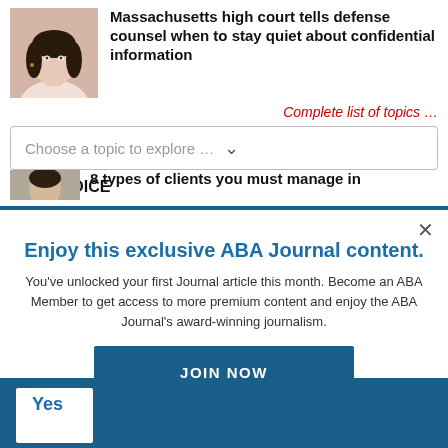[Figure (photo): Woman with finger to lips in shushing gesture]
Massachusetts high court tells defense counsel when to stay quiet about confidential information
Complete list of topics …
Choose a topic to explore …
YOUR VOICE
8 types of clients you must manage in
Enjoy this exclusive ABA Journal content.
You've unlocked your first Journal article this month. Become an ABA Member to get access to more premium content and enjoy the ABA Journal's award-winning journalism.
JOIN NOW
Already an ABA Member? Sign in
Yes